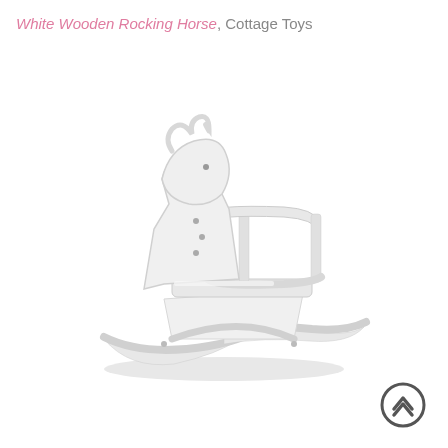White Wooden Rocking Horse, Cottage Toys
[Figure (photo): White wooden rocking horse toy with safety rail/handle bar and curved rockers, photographed on white background]
[Figure (other): Circular up-arrow navigation button icon in dark gray]